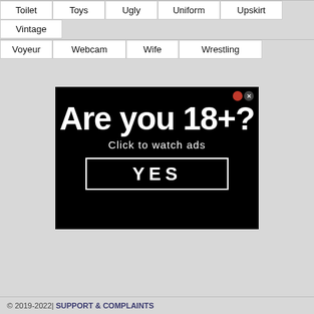Toilet | Toys | Ugly | Uniform | Upskirt | Vintage
Voyeur | Webcam | Wife | Wrestling
[Figure (screenshot): Age verification ad popup on black background. Large white bold text reads 'Are you 18+?' with subtitle 'Click to watch ads' and a YES button with white border.]
© 2019-2022| SUPPORT & COMPLAINTS